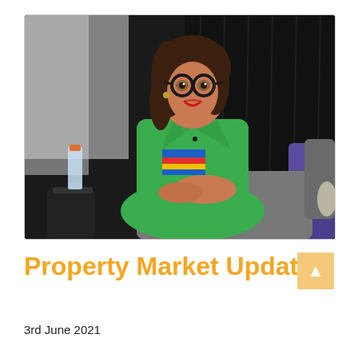[Figure (photo): A woman wearing a green blazer and green trousers with round black glasses sits in a grey chair on a conference stage, smiling. She wears a colorful striped top underneath. A water bottle is visible to her left on a small black table. The background is a dark black curtain and a greyish screen.]
Property Market Update
3rd June 2021